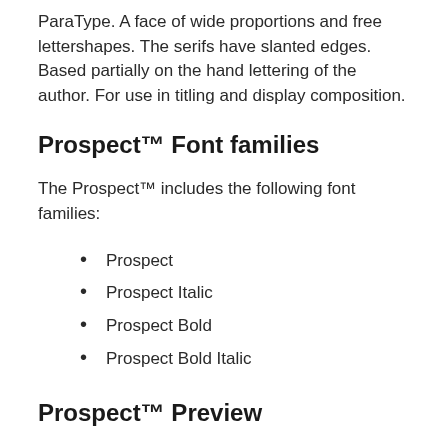ParaType. A face of wide proportions and free lettershapes. The serifs have slanted edges. Based partially on the hand lettering of the author. For use in titling and display composition.
Prospect™ Font families
The Prospect™ includes the following font families:
Prospect
Prospect Italic
Prospect Bold
Prospect Bold Italic
Prospect™ Preview